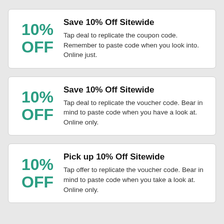10% OFF
Save 10% Off Sitewide
Tap deal to replicate the coupon code. Remember to paste code when you look into. Online just.
10% OFF
Save 10% Off Sitewide
Tap deal to replicate the voucher code. Bear in mind to paste code when you have a look at. Online only.
10% OFF
Pick up 10% Off Sitewide
Tap offer to replicate the voucher code. Bear in mind to paste code when you take a look at. Online only.